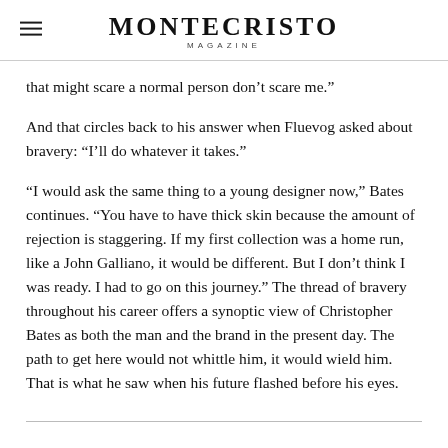MONTECRISTO MAGAZINE
that might scare a normal person don’t scare me.”
And that circles back to his answer when Fluevog asked about bravery: “I’ll do whatever it takes.”
“I would ask the same thing to a young designer now,” Bates continues. “You have to have thick skin because the amount of rejection is staggering. If my first collection was a home run, like a John Galliano, it would be different. But I don’t think I was ready. I had to go on this journey.” The thread of bravery throughout his career offers a synoptic view of Christopher Bates as both the man and the brand in the present day. The path to get here would not whittle him, it would wield him. That is what he saw when his future flashed before his eyes.